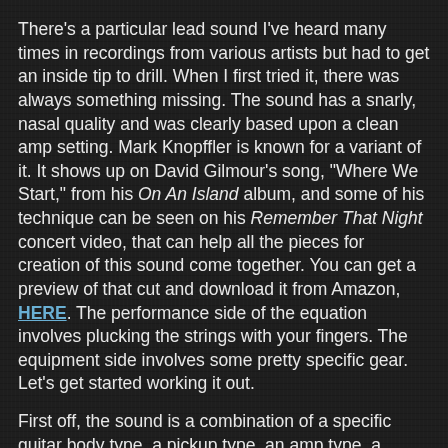There's a particular lead sound I've heard many times in recordings from various artists but had to get an inside tip to drill. When I first tried it, there was always something missing. The sound has a snarly, nasal quality and was clearly based upon a clean amp setting. Mark Knopffler is known for a variant of it. It shows up on David Gilmour's song, "Where We Start," from his On An Island album, and some of his technique can be seen on his Remember That Night concert video, that can help all the pieces for creation of this sound come together. You can get a preview of that cut and download it from Amazon, HERE. The performance side of the equation involves plucking the strings with your fingers. The equipment side involves some pretty specific gear. Let's get started working it out.
First off, the sound is a combination of a specific guitar body type, a pickup type, an amp type, a certain type of processing, and a playing style. Which of each?
Guitar: Semi-hollow electric
Pickup: Bright humbuckers
Processing: Compressor
Amp: Clean and bright
Playing style: Finger plucked, with a twist